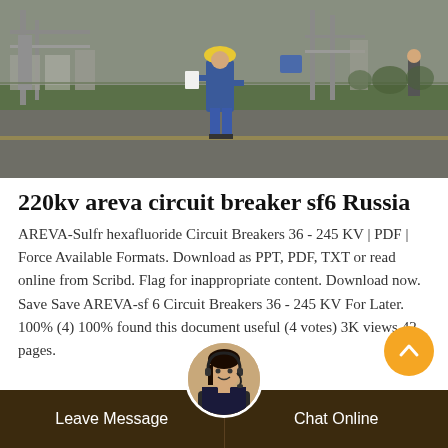[Figure (photo): Worker in blue jacket and yellow hard hat standing in an electrical substation yard, viewed from behind, with large transformers and electrical equipment visible in the background.]
220kv areva circuit breaker sf6 Russia
AREVA-Sulfr hexafluoride Circuit Breakers 36 - 245 KV | PDF | Force Available Formats. Download as PPT, PDF, TXT or read online from Scribd. Flag for inappropriate content. Download now. Save Save AREVA-sf 6 Circuit Breakers 36 - 245 KV For Later. 100% (4) 100% found this document useful (4 votes) 3K views 42 pages.
Leave Message  Chat Online